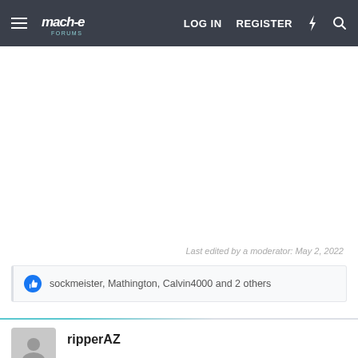LOG IN   REGISTER
Last edited by a moderator: May 2, 2022
sockmeister, Mathington, Calvin4000 and 2 others
ripperAZ